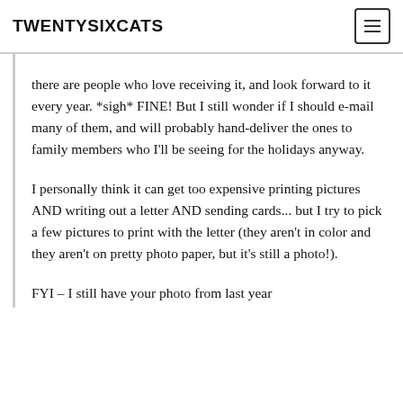TWENTYSIXCATS
there are people who love receiving it, and look forward to it every year. *sigh* FINE! But I still wonder if I should e-mail many of them, and will probably hand-deliver the ones to family members who I'll be seeing for the holidays anyway.
I personally think it can get too expensive printing pictures AND writing out a letter AND sending cards... but I try to pick a few pictures to print with the letter (they aren't in color and they aren't on pretty photo paper, but it's still a photo!).
FYI – I still have your photo from last year